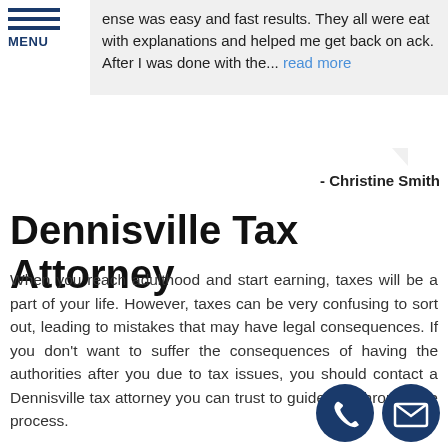MENU
ense was easy and fast results. They all were eat with explanations and helped me get back on ack. After I was done with the... read more
- Christine Smith
Dennisville Tax Attorney
When you reach adulthood and start earning, taxes will be a part of your life. However, taxes can be very confusing to sort out, leading to mistakes that may have legal consequences. If you don't want to suffer the consequences of having the authorities after you due to tax issues, you should contact a Dennisville tax attorney you can trust to guide you through the process.
[Figure (illustration): Two circular icon buttons: a phone/call icon and an email/envelope icon, both with dark navy blue backgrounds, positioned at bottom right of page.]